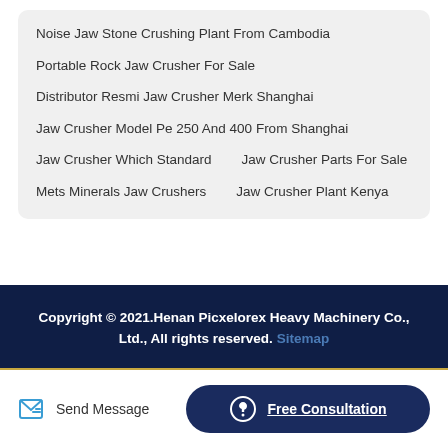Noise Jaw Stone Crushing Plant From Cambodia
Portable Rock Jaw Crusher For Sale
Distributor Resmi Jaw Crusher Merk Shanghai
Jaw Crusher Model Pe 250 And 400 From Shanghai
Jaw Crusher Which Standard    Jaw Crusher Parts For Sale
Mets Minerals Jaw Crushers    Jaw Crusher Plant Kenya
Copyright © 2021.Henan Picxelorex Heavy Machinery Co., Ltd., All rights reserved. Sitemap
Send Message
Free Consultation